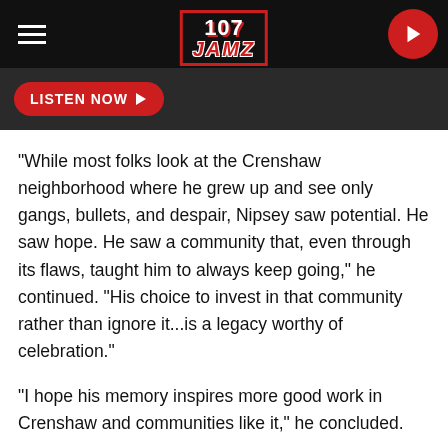[Figure (logo): 107 JAMZ radio station logo — white '107' over red 'JAMZ' in black bordered red rectangle, in a dark navigation bar with hamburger menu and red play button]
[Figure (other): Dark strip with a red 'LISTEN NOW ▶' button]
"While most folks look at the Crenshaw neighborhood where he grew up and see only gangs, bullets, and despair, Nipsey saw potential. He saw hope. He saw a community that, even through its flaws, taught him to always keep going," he continued. "His choice to invest in that community rather than ignore it...is a legacy worthy of celebration."
"I hope his memory inspires more good work in Crenshaw and communities like it," he concluded.
You can read Barack Obama's letter to Nipsey Hussle below.